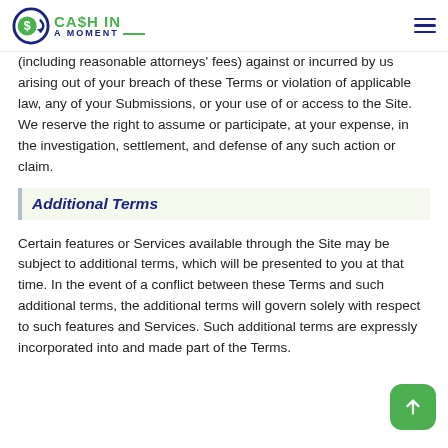Cash In A Moment
(including reasonable attorneys' fees) against or incurred by us arising out of your breach of these Terms or violation of applicable law, any of your Submissions, or your use of or access to the Site. We reserve the right to assume or participate, at your expense, in the investigation, settlement, and defense of any such action or claim.
Additional Terms
Certain features or Services available through the Site may be subject to additional terms, which will be presented to you at that time. In the event of a conflict between these Terms and such additional terms, the additional terms will govern solely with respect to such features and Services. Such additional terms are expressly incorporated into and made part of the Terms.